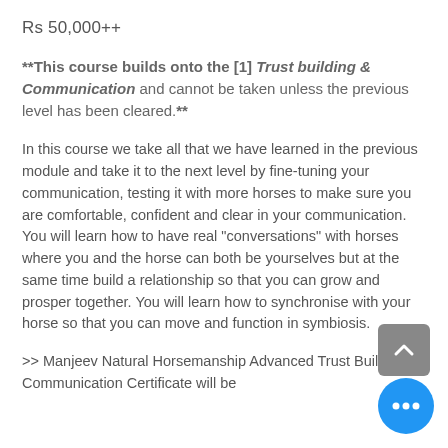Rs 50,000++
**This course builds onto the [1] Trust building & Communication and cannot be taken unless the previous level has been cleared.**
In this course we take all that we have learned in the previous module and take it to the next level by fine-tuning your communication, testing it with more horses to make sure you are comfortable, confident and clear in your communication. You will learn how to have real "conversations" with horses where you and the horse can both be yourselves but at the same time build a relationship so that you can grow and prosper together. You will learn how to synchronise with your horse so that you can move and function in symbiosis.
>> Manjeev Natural Horsemanship Advanced Trust Building & Communication Certificate will be